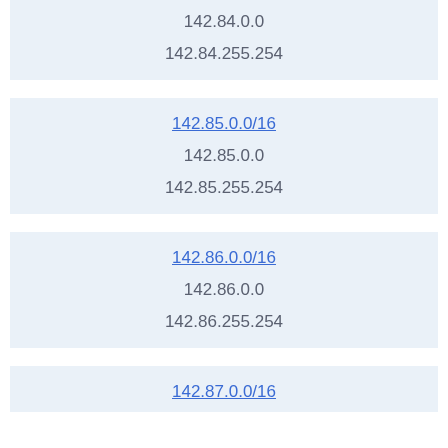| 142.84.0.0 |
| 142.84.255.254 |
| 142.85.0.0/16 |
| --- |
| 142.85.0.0 |
| 142.85.255.254 |
| 142.86.0.0/16 |
| --- |
| 142.86.0.0 |
| 142.86.255.254 |
| 142.87.0.0/16 |
| --- |